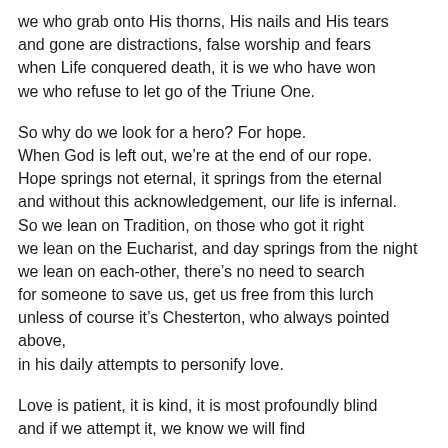we who grab onto His thorns, His nails and His tears
and gone are distractions, false worship and fears
when Life conquered death, it is we who have won
we who refuse to let go of the Triune One.
So why do we look for a hero? For hope.
When God is left out, we're at the end of our rope.
Hope springs not eternal, it springs from the eternal
and without this acknowledgement, our life is infernal.
So we lean on Tradition, on those who got it right
we lean on the Eucharist, and day springs from the night
we lean on each-other, there's no need to search
for someone to save us, get us free from this lurch
unless of course it's Chesterton, who always pointed above,
in his daily attempts to personify love.
Love is patient, it is kind, it is most profoundly blind
and if we attempt it, we know we will find
the One who's been beside us, waiting to be found
the One who's been watching us run our lives into the
ground